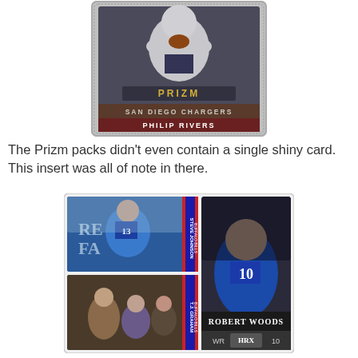[Figure (photo): Prizm trading card showing a quarterback (Philip Rivers) in a San Diego Chargers uniform holding a football, with decorative border. Card reads 'PRIZM', 'SAN DIEGO CHARGERS', 'PHILIP RIVERS'.]
The Prizm packs didn't even contain a single shiny card. This insert was all of note in there.
[Figure (photo): Group of trading cards showing Buffalo Bills players: Steve Johnson and T.J. Graham Score cards on the left, and a Panini HRX rookie card of Robert Woods (#10, WR) on the right.]